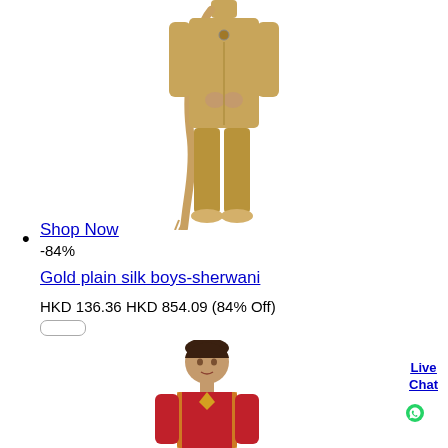[Figure (photo): Man wearing a gold plain silk sherwani with matching pants and scarf, viewed from neck to feet]
•
Shop Now
-84%
Gold plain silk boys-sherwani
HKD 136.36 HKD 854.09 (84% Off)
[Figure (photo): Boy wearing a red and gold sherwani, visible from upper body]
Live Chat
[Figure (logo): WhatsApp green circle icon]